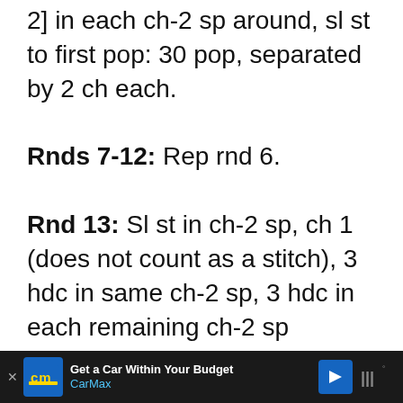2] in each ch-2 sp around, sl st to first pop: 30 pop, separated by 2 ch each.
Rnds 7-12: Rep rnd 6.
Rnd 13: Sl st in ch-2 sp, ch 1 (does not count as a stitch), 3 hdc in same ch-2 sp, 3 hdc in each remaining ch-2 sp around, sl st to first hdc: 90 hdc.
Rnd 14: With smaller hook, ch 1 (does not count as a stitch), fpdc around same hdc as joining, [bpdc, fpdc] to last hdc, bpdc around last
[Figure (other): Advertisement bar: CarMax - Get a Car Within Your Budget]